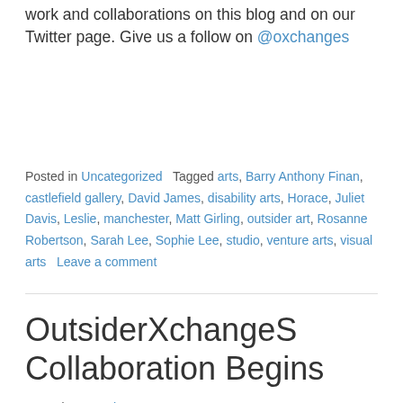work and collaborations on this blog and on our Twitter page. Give us a follow on @oxchanges
Posted in Uncategorized   Tagged arts, Barry Anthony Finan, castlefield gallery, David James, disability arts, Horace, Juliet Davis, Leslie, manchester, Matt Girling, outsider art, Rosanne Robertson, Sarah Lee, Sophie Lee, studio, venture arts, visual arts   Leave a comment
OutsiderXchangeS Collaboration Begins
Posted on March 23, 2016